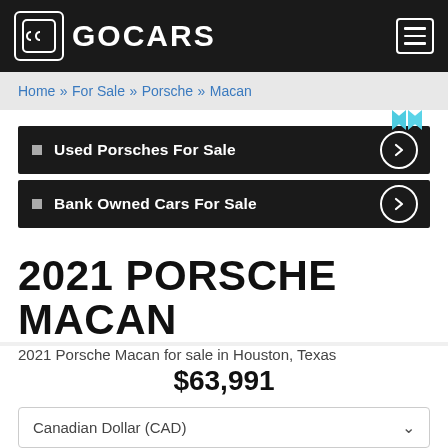GOCARS
Home » For Sale » Porsche » Macan
Used Porsches For Sale
Bank Owned Cars For Sale
2021 PORSCHE MACAN
2021 Porsche Macan for sale in Houston, Texas
$63,991
Canadian Dollar (CAD)
Approx.  $80,789